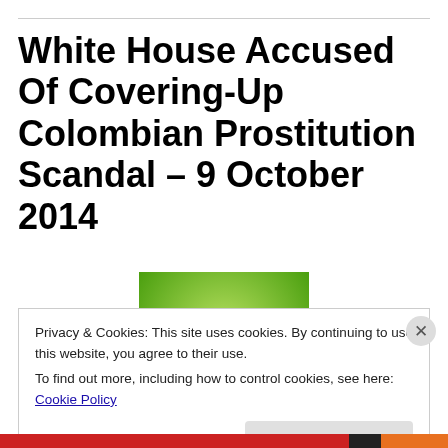White House Accused Of Covering-Up Colombian Prostitution Scandal – 9 October 2014
[Figure (logo): RT (Russia Today) logo — green gradient square background with bold black 'RT' letters]
Privacy & Cookies: This site uses cookies. By continuing to use this website, you agree to their use.
To find out more, including how to control cookies, see here: Cookie Policy